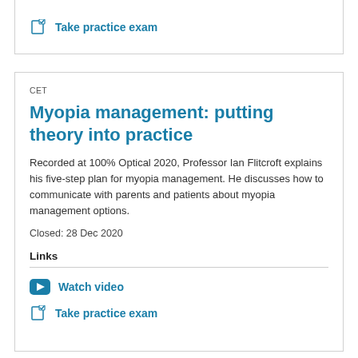Take practice exam
CET
Myopia management: putting theory into practice
Recorded at 100% Optical 2020, Professor Ian Flitcroft explains his five-step plan for myopia management. He discusses how to communicate with parents and patients about myopia management options.
Closed: 28 Dec 2020
Links
Watch video
Take practice exam